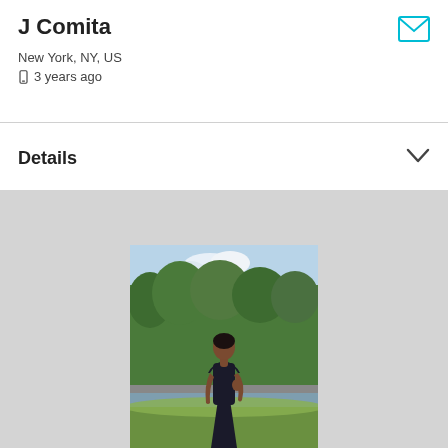J Comita
New York, NY, US
3 years ago
Details
[Figure (photo): A woman in a black dress standing outdoors near water with green trees in the background]